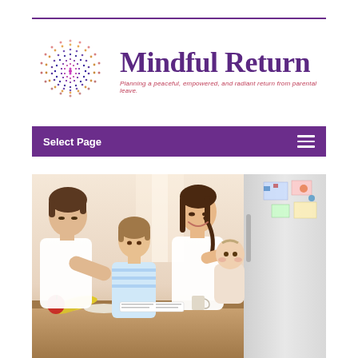[Figure (logo): Mindful Return logo: a colorful spiral/concentric circles icon on the left, with the text 'Mindful Return' in large purple serif font and tagline 'Planning a peaceful, empowered, and radiant return from parental leave.' in small pink italic text below]
Select Page
[Figure (photo): A family scene at a table: a father (dark hair, white shirt) leaning over looking at something with a young child (striped shirt), a smiling mother (long dark hair, white shirt) holding a baby, with fruit (bananas, apple) on the table, a refrigerator with papers/notes in the background]